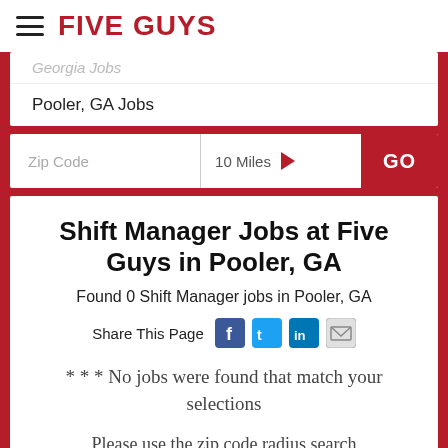FIVE GUYS
Georgia Jobs
Pooler, GA Jobs
Zip Code  10 Miles  GO
Shift Manager Jobs at Five Guys in Pooler, GA
Found 0 Shift Manager jobs in Pooler, GA
Share This Page
* * * No jobs were found that match your selections
Please use the zip code radius search above to find other jobs near you